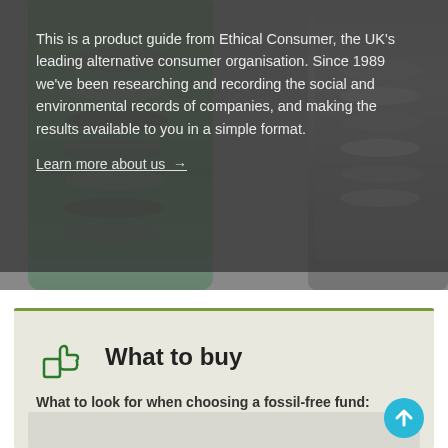[Figure (photo): Background photo of two glass jars filled with coins, partially visible on left and right sides of the image, with a dark semi-transparent overlay on the left portion containing text.]
This is a product guide from Ethical Consumer, the UK's leading alternative consumer organisation. Since 1989 we've been researching and recording the social and environmental records of companies, and making the results available to you in a simple format.
Learn more about us →
[Figure (illustration): Thumbs up icon in dark green outline style]
What to buy
What to look for when choosing a fossil-free fund: